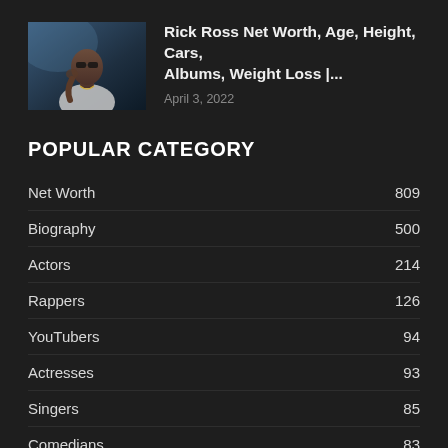[Figure (photo): Thumbnail image of Rick Ross, a person in white clothing with a chain necklace, in a blue-tinted scene]
Rick Ross Net Worth, Age, Height, Cars, Albums, Weight Loss |...
April 3, 2022
POPULAR CATEGORY
Net Worth 809
Biography 500
Actors 214
Rappers 126
YouTubers 94
Actresses 93
Singers 85
Comedians 83
Athletes 65